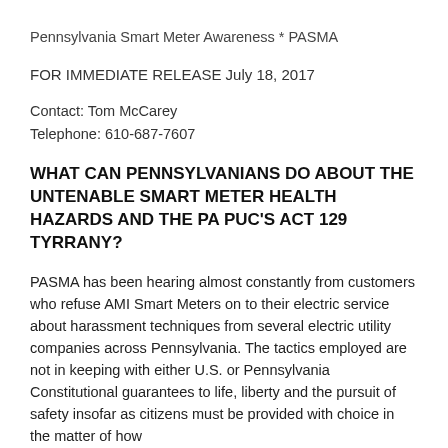Pennsylvania Smart Meter Awareness * PASMA
FOR IMMEDIATE RELEASE July 18, 2017
Contact: Tom McCarey
Telephone: 610-687-7607
WHAT CAN PENNSYLVANIANS DO ABOUT THE UNTENABLE SMART METER HEALTH HAZARDS AND THE PA PUC's ACT 129 TYRRANY?
PASMA has been hearing almost constantly from customers who refuse AMI Smart Meters on to their electric service about harassment techniques from several electric utility companies across Pennsylvania. The tactics employed are not in keeping with either U.S. or Pennsylvania Constitutional guarantees to life, liberty and the pursuit of safety insofar as citizens must be provided with choice in the matter of how